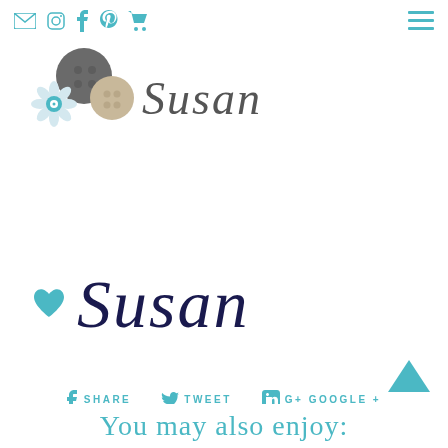Social media icons and navigation
[Figure (logo): Susan logo with buttons and flower illustration, text reading 'Susan' in gray italic serif font]
[Figure (illustration): Handwritten cursive signature 'Susan' in dark navy blue with a teal heart icon to the left]
f SHARE   y TWEET   G+ GOOGLE +   @ PIN IT
You may also enjoy: